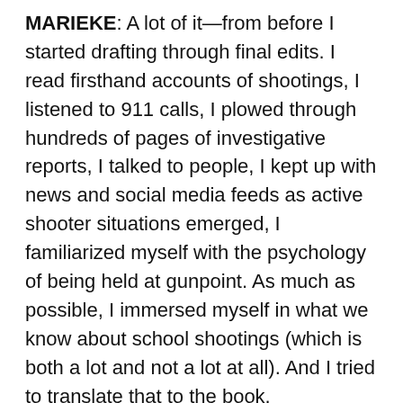MARIEKE: A lot of it—from before I started drafting through final edits. I read firsthand accounts of shootings, I listened to 911 calls, I plowed through hundreds of pages of investigative reports, I talked to people, I kept up with news and social media feeds as active shooter situations emerged, I familiarized myself with the psychology of being held at gunpoint. As much as possible, I immersed myself in what we know about school shootings (which is both a lot and not a lot at all). And I tried to translate that to the book.
Even now, when shootings happen, my first instinct is to drop whatever I'm doing and absorb what is happening, listen to people as they share their experiences.
CINDY: Using present tense and limiting the time frame to 54 minutes puts the reader in the moment. As